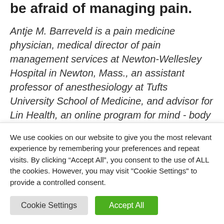be afraid of managing pain.
Antje M. Barreveld is a pain medicine physician, medical director of pain management services at Newton-Wellesley Hospital in Newton, Mass., an assistant professor of anesthesiology at Tufts University School of Medicine, and advisor for Lin Health, an online program for mind-body approaches to managing pain. The
We use cookies on our website to give you the most relevant experience by remembering your preferences and repeat visits. By clicking “Accept All”, you consent to the use of ALL the cookies. However, you may visit "Cookie Settings" to provide a controlled consent.